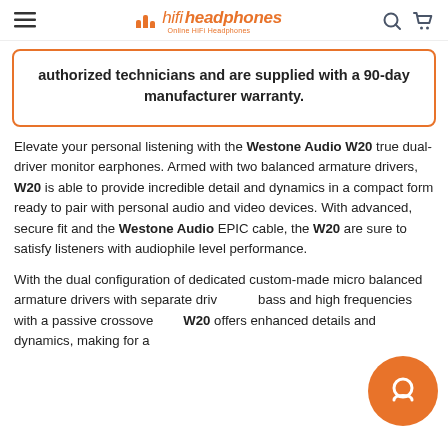hifiheadphones
authorized technicians and are supplied with a 90-day manufacturer warranty.
Elevate your personal listening with the Westone Audio W20 true dual-driver monitor earphones. Armed with two balanced armature drivers, W20 is able to provide incredible detail and dynamics in a compact form ready to pair with personal audio and video devices. With advanced, secure fit and the Westone Audio EPIC cable, the W20 are sure to satisfy listeners with audiophile level performance.
With the dual configuration of dedicated custom-made micro balanced armature drivers with separate drivers for bass and high frequencies with a passive crossover the W20 offers enhanced details and dynamics, making for a transcendent listening experience.